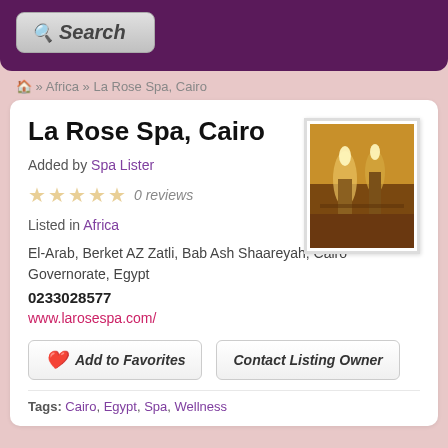[Figure (screenshot): Search button with magnifying glass icon on purple background]
🏠 » Africa » La Rose Spa, Cairo
La Rose Spa, Cairo
[Figure (photo): Interior photo of La Rose Spa showing warm lit candles and spa decor]
Added by Spa Lister
0 reviews
Listed in Africa
El-Arab, Berket AZ Zatli, Bab Ash Shaareyah, Cairo Governorate, Egypt
0233028577
www.larosespa.com/
Add to Favorites
Contact Listing Owner
Tags: Cairo, Egypt, Spa, Wellness